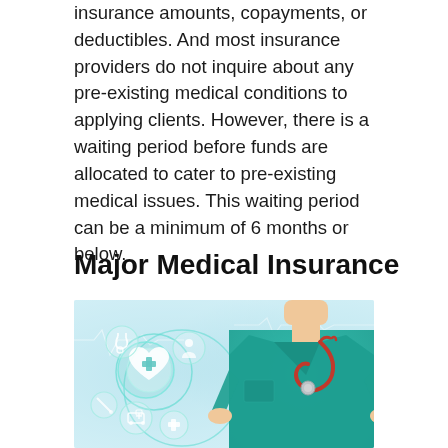insurance amounts, copayments, or deductibles. And most insurance providers do not inquire about any pre-existing medical conditions to applying clients. However, there is a waiting period before funds are allocated to cater to pre-existing medical issues. This waiting period can be a minimum of 6 months or below.
Major Medical Insurance
[Figure (photo): A doctor in teal/green scrubs with a red stethoscope, shown from the torso up with hands in pockets. On the left side of the image are glowing teal circular medical icons including a heart with a cross, a stethoscope, an ambulance, and other healthcare symbols on a light blue bokeh background.]